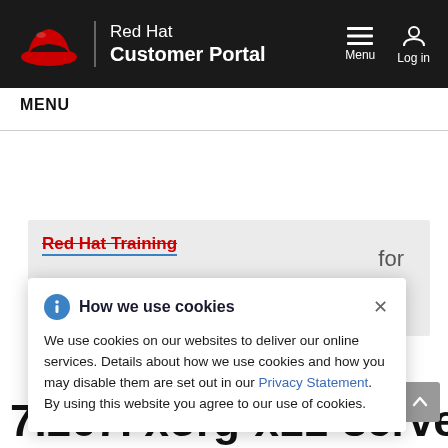Red Hat Customer Portal — Menu / Log in
MENU
Red Hat Training
for
How we use cookies
We use cookies on our websites to deliver our online services. Details about how we use cookies and how you may disable them are set out in our Privacy Statement. By using this website you agree to our use of cookies.
7.267. xorg-x11-server